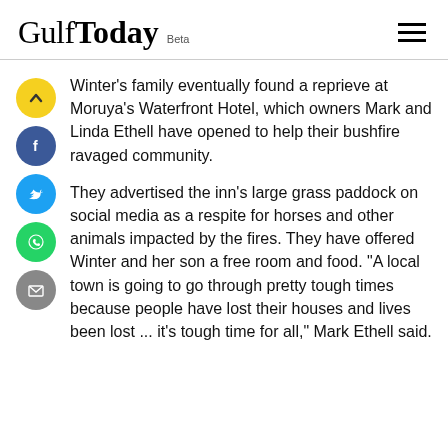Gulf Today Beta
Winter's family eventually found a reprieve at Moruya's Waterfront Hotel, which owners Mark and Linda Ethell have opened to help their bushfire ravaged community.
They advertised the inn's large grass paddock on social media as a respite for horses and other animals impacted by the fires. They have offered Winter and her son a free room and food. "A local town is going to go through pretty tough times because people have lost their houses and lives been lost ... it's tough time for all," Mark Ethell said.